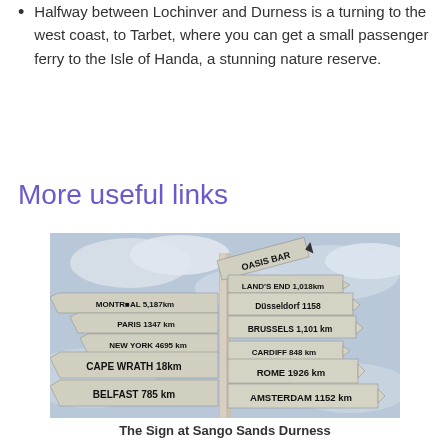Halfway between Lochinver and Durness is a turning to the west coast, to Tarbet, where you can get a small passenger ferry to the Isle of Handa, a stunning nature reserve.
More useful links
[Figure (photo): A signpost at Sango Sands Durness showing distances to various world cities: OASIS BAR, LAND'S END 1,018km, MONTREAL 5,187km, Düsseldorf 1158, PARIS 1347 km, BRUSSELS 1,101 km, NEW YORK 4695 km, CARDIFF 848 km, CAPE WRATH 18km, ROME 1926 km, BELFAST 785 km, AMSTERDAM 1152 km]
The Sign at Sango Sands Durness